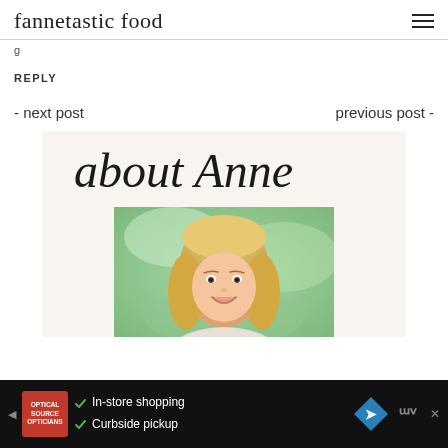fannetastic food
g
REPLY
- next post
previous post -
[Figure (illustration): About Anne section with cursive script 'about Anne' heading and a photo of a smiling blonde woman outdoors with a green blurred background]
In-store shopping
Curbside pickup